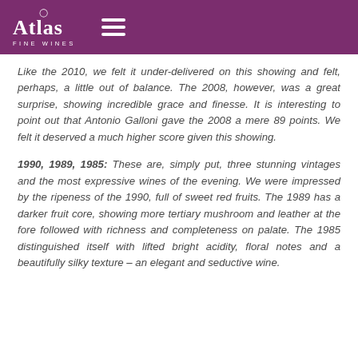Atlas Fine Wines
Like the 2010, we felt it under-delivered on this showing and felt, perhaps, a little out of balance. The 2008, however, was a great surprise, showing incredible grace and finesse. It is interesting to point out that Antonio Galloni gave the 2008 a mere 89 points. We felt it deserved a much higher score given this showing.
1990, 1989, 1985: These are, simply put, three stunning vintages and the most expressive wines of the evening. We were impressed by the ripeness of the 1990, full of sweet red fruits. The 1989 has a darker fruit core, showing more tertiary mushroom and leather at the fore followed with richness and completeness on palate. The 1985 distinguished itself with lifted bright acidity, floral notes and a beautifully silky texture – an elegant and seductive wine.